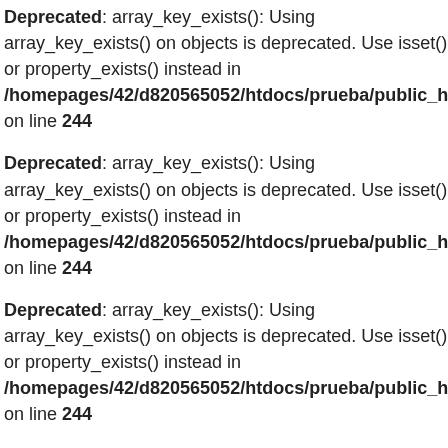Deprecated: array_key_exists(): Using array_key_exists() on objects is deprecated. Use isset() or property_exists() instead in /homepages/42/d820565052/htdocs/prueba/public_html/ti... on line 244
Deprecated: array_key_exists(): Using array_key_exists() on objects is deprecated. Use isset() or property_exists() instead in /homepages/42/d820565052/htdocs/prueba/public_html/ti... on line 244
Deprecated: array_key_exists(): Using array_key_exists() on objects is deprecated. Use isset() or property_exists() instead in /homepages/42/d820565052/htdocs/prueba/public_html/ti... on line 244
Deprecated: array_key_exists(): Using array_key_exists() on objects is deprecated. Use isset() or property_exists() instead in /homepages/42/d820565052/htdocs/prueba/public_html/ti...